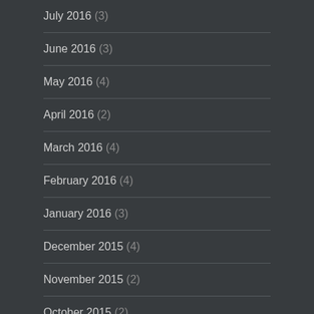July 2016 (3)
June 2016 (3)
May 2016 (4)
April 2016 (2)
March 2016 (4)
February 2016 (4)
January 2016 (3)
December 2015 (4)
November 2015 (2)
October 2015 (2)
September 2015 (4)